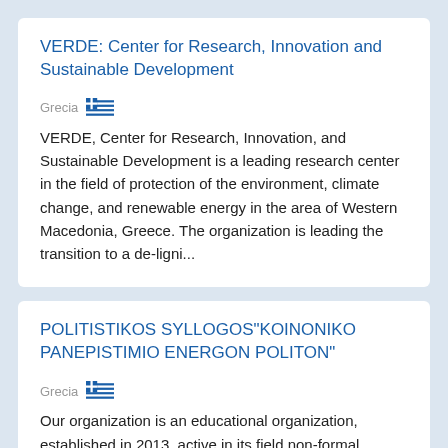VERDE: Center for Research, Innovation and Sustainable Development
Grecia
VERDE, Center for Research, Innovation, and Sustainable Development is a leading research center in the field of protection of the environment, climate change, and renewable energy in the area of Western Macedonia, Greece. The organization is leading the transition to a de-ligni...
POLITISTIKOS SYLLOGOS"KOINONIKO PANEPISTIMIO ENERGON POLITON"
Grecia
Our organization is an educational organization, established in 2013, active in its field non-formal